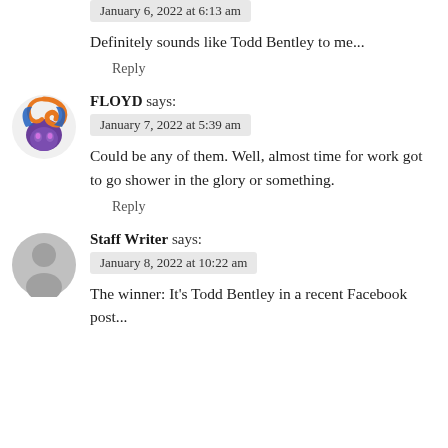January 6, 2022 at 6:13 am
Definitely sounds like Todd Bentley to me...
Reply
FLOYD says:
January 7, 2022 at 5:39 am
Could be any of them. Well, almost time for work got to go shower in the glory or something.
Reply
Staff Writer says:
January 8, 2022 at 10:22 am
The winner: It's Todd Bentley in a recent Facebook post...